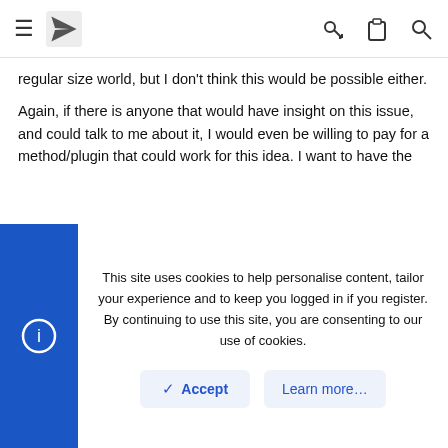Navigation header with hamburger menu, logo, key icon, clipboard icon, and search icon
regular size world, but I don't think this would be possible either.
Again, if there is anyone that would have insight on this issue, and could talk to me about it, I would even be willing to pay for a method/plugin that could work for this idea. I want to have the true hardcore experience brought into the Minecraft server world.
Last edited: Jan 20, 2022
You must log in or register to reply here.
This site uses cookies to help personalise content, tailor your experience and to keep you logged in if you register. By continuing to use this site, you are consenting to our use of cookies.
Accept
Learn more…